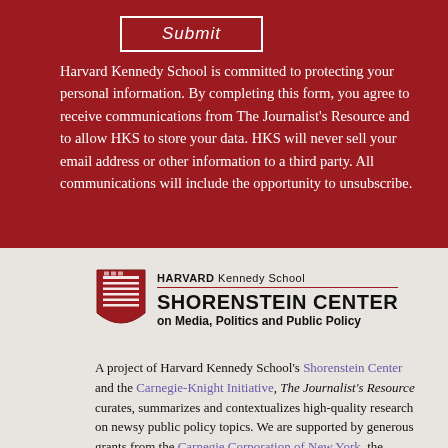Submit
Harvard Kennedy School is committed to protecting your personal information. By completing this form, you agree to receive communications from The Journalist's Resource and to allow HKS to store your data. HKS will never sell your email address or other information to a third party. All communications will include the opportunity to unsubscribe.
[Figure (logo): Harvard Kennedy School Shorenstein Center on Media, Politics and Public Policy logo with shield emblem]
A project of Harvard Kennedy School's Shorenstein Center and the Carnegie-Knight Initiative, The Journalist's Resource curates, summarizes and contextualizes high-quality research on newsy public policy topics. We are supported by generous grants from the Carnegie Corporation of New York, the Robert Wood Johnson Foundation, The National Institute for Health Care Management (NIHCM) Foundation and individual contributors.